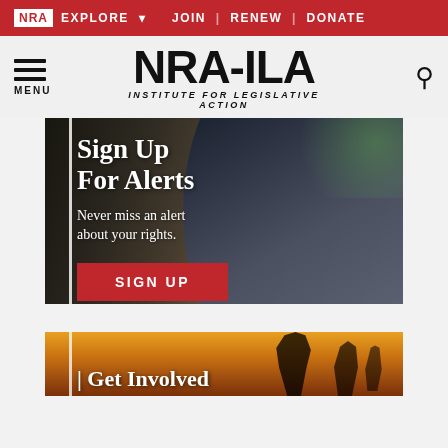NRA EXPLORE ▾   JOIN | RENEW | DONATE
[Figure (logo): NRA-ILA logo with tagline INSTITUTE for LEGISLATIVE ACTION, menu hamburger icon on left, search icon on right]
[Figure (infographic): Sign Up For Alerts banner with man looking at phone. Text: Sign Up For Alerts. Never miss an alert about your rights. SIGN UP button.]
[Figure (photo): Get Involved banner with sunset silhouette background, partially visible at bottom of page.]